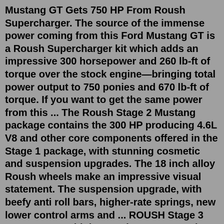Mustang GT Gets 750 HP From Roush Supercharger. The source of the immense power coming from this Ford Mustang GT is a Roush Supercharger kit which adds an impressive 300 horsepower and 260 lb-ft of torque over the stock engine—bringing total power output to 750 ponies and 670 lb-ft of torque. If you want to get the same power from this ... The Roush Stage 2 Mustang package contains the 300 HP producing 4.6L V8 and other core components offered in the Stage 1 package, with stunning cosmetic and suspension upgrades. The 18 inch alloy Roush wheels make an impressive visual statement. The suspension upgrade, with beefy anti roll bars, higher-rate springs, new lower control arms and ... ROUSH Stage 3 Mustang. Combining Ford's 5.0L V8 engine with the ROUSH Phase 2 Supercharger, the ROUSH Stage 3 delivers 750 hp, 670 lb-ft of torque and a blistering 0-60 mph time of 3.6 seconds. Equipped in your choice of 6-speed manual or 10-speed automatic transmission, the power is yours to command.